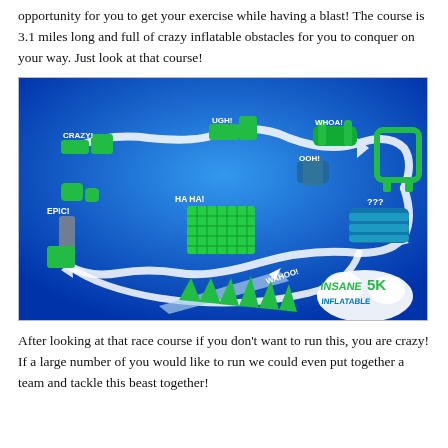opportunity for you to get your exercise while having a blast! The course is 3.1 miles long and full of crazy inflatable obstacles for you to conquer on your way. Just look at that course!
[Figure (illustration): Illustrated map of the Insane Inflatable 5K obstacle course on a blue background, showing various inflatable obstacles labeled CRAZY!, UGH!, WHOA!, OOH!, HA HA!, EPIC!, WAHOO!, ???  with white arrows showing the course route and the Insane Inflatable 5K logo in the bottom right.]
After looking at that race course if you don't want to run this, you are crazy! If a large number of you would like to run we could even put together a team and tackle this beast together!